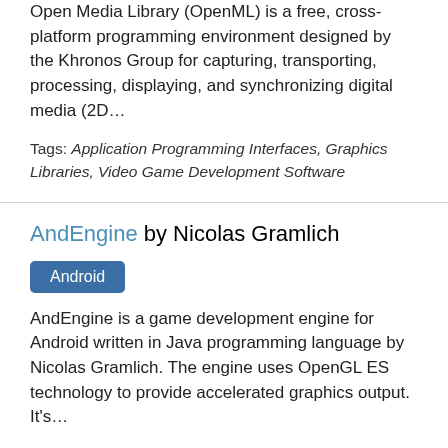Open Media Library (OpenML) is a free, cross-platform programming environment designed by the Khronos Group for capturing, transporting, processing, displaying, and synchronizing digital media (2D...
Tags: Application Programming Interfaces, Graphics Libraries, Video Game Development Software
AndEngine by Nicolas Gramlich
Android
AndEngine is a game development engine for Android written in Java programming language by Nicolas Gramlich. The engine uses OpenGL ES technology to provide accelerated graphics output. It's...
Tags: Video Game Development Software